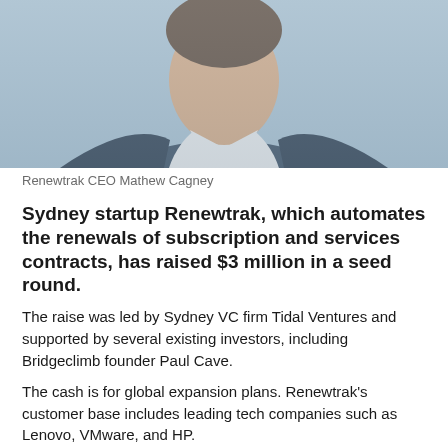[Figure (photo): Portrait photo of Renewtrak CEO Mathew Cagney, a man in a dark suit and white shirt, photographed from the chest up against a light blue-grey background.]
Renewtrak CEO Mathew Cagney
Sydney startup Renewtrak, which automates the renewals of subscription and services contracts, has raised $3 million in a seed round.
The raise was led by Sydney VC firm Tidal Ventures and supported by several existing investors, including Bridgeclimb founder Paul Cave.
The cash is for global expansion plans. Renewtrak's customer base includes leading tech companies such as Lenovo, VMware, and HP.
The seven-year-old business is headed up by former Afterpay executives Mathew Cagney (CEO) and Alex Wood